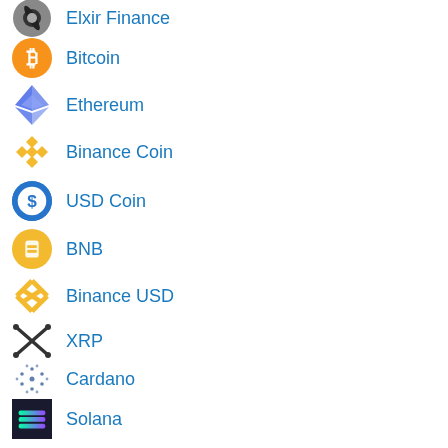Elxir Finance
Bitcoin
Ethereum
Binance Coin
USD Coin
BNB
Binance USD
XRP
Cardano
Solana
Dogecoin
Polkadot